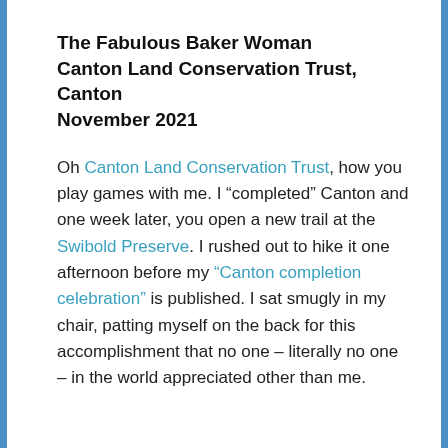The Fabulous Baker Woman
Canton Land Conservation Trust, Canton
November 2021
Oh Canton Land Conservation Trust, how you play games with me. I “completed” Canton and one week later, you open a new trail at the Swibold Preserve. I rushed out to hike it one afternoon before my “Canton completion celebration” is published. I sat smugly in my chair, patting myself on the back for this accomplishment that no one – literally no one – in the world appreciated other than me.